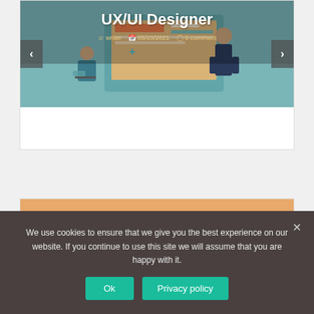[Figure (screenshot): Blog post slideshow card showing UX/UI Designer title with an illustration of people working on digital design, with navigation arrows on left and right]
UX/UI Designer
writer  05/10/2021  0 comment
CATEGORIES
We use cookies to ensure that we give you the best experience on our website. If you continue to use this site we will assume that you are happy with it.
Ok  Privacy policy